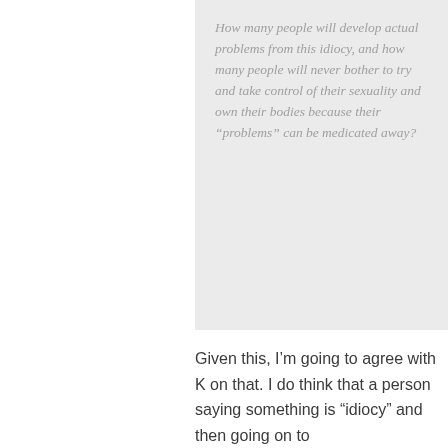How many people will develop actual problems from this idiocy, and how many people will never bother to try and take control of their sexuality and own their bodies because their “problems” can be medicated away?
Given this, I’m going to agree with K on that. I do think that a person saying something is “idiocy” and then going on to